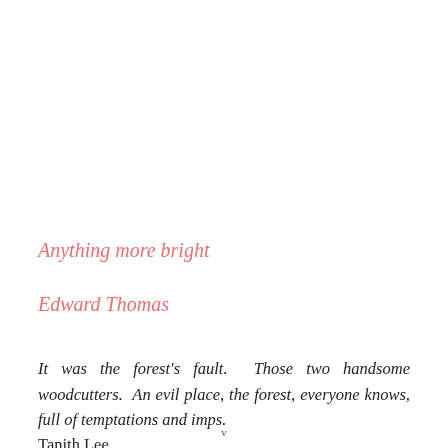Anything more bright
Edward Thomas
It was the forest's fault.  Those two handsome woodcutters.  An evil place, the forest, everyone knows, full of temptations and imps. Tanith Lee
v